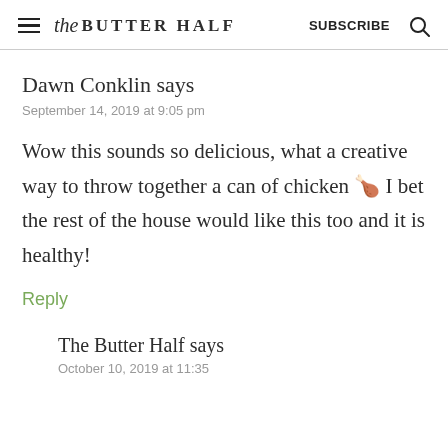the BUTTER HALF  SUBSCRIBE
Dawn Conklin says
September 14, 2019 at 9:05 pm
Wow this sounds so delicious, what a creative way to throw together a can of chicken 🍗 I bet the rest of the house would like this too and it is healthy!
Reply
The Butter Half says
October 10, 2019 at 11:35